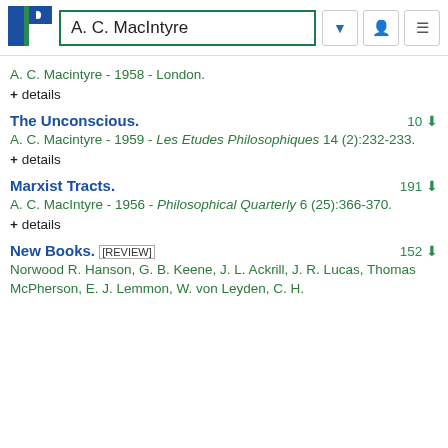A. C. MacIntyre
A. C. Macintyre - 1958 - London.
+ details
The Unconscious.
A. C. Macintyre - 1959 - Les Etudes Philosophiques 14 (2):232-233.
+ details
Marxist Tracts.
A. C. MacIntyre - 1956 - Philosophical Quarterly 6 (25):366-370.
+ details
New Books. [REVIEW]
Norwood R. Hanson, G. B. Keene, J. L. Ackrill, J. R. Lucas, Thomas McPherson, E. J. Lemmon, W. von Leyden, C. H.